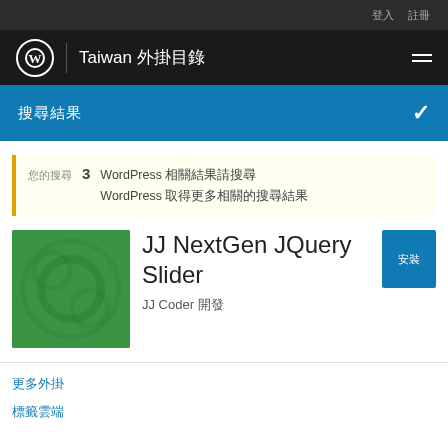登入 註冊
Taiwan 外掛目錄
搜尋結果
您的搜尋 3 WordPress 相關結果請搜尋 WordPress 取得更多相關的搜尋結果
JJ NextGen JQuery Slider JJ Coder 開發
更多外掛
標籤雲端